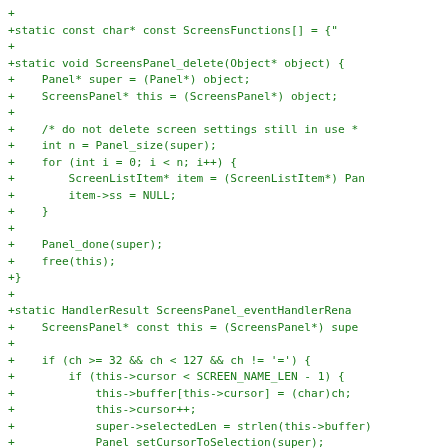[Figure (screenshot): Source code diff showing C code additions for ScreensFunctions array, ScreensPanel_delete function, and ScreensPanel_eventHandlerRena function, displayed in green monospace font on white background.]